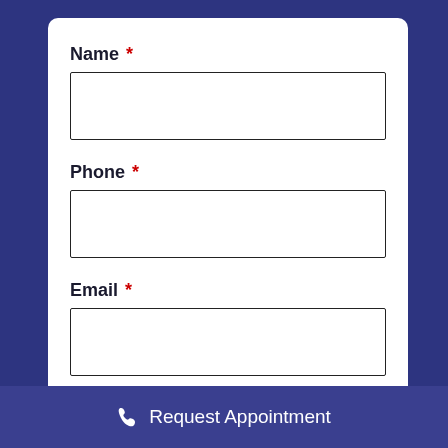Name *
Phone *
Email *
Please select one of our offices
Request Appointment